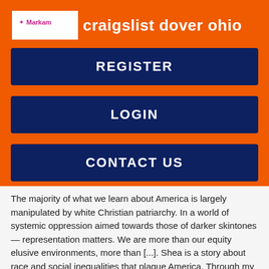craigslist dover ohio
REGISTER
LOGIN
CONTACT US
The majority of what we learn about America is largely manipulated by white Christian patriarchy. In a world of systemic oppression aimed towards those of darker skintones — representation matters. We are more than our equity elusive environments, more than [...]. Shea is a story about race and social inequalities that plague America. Through my artwork I strive to create an example of ideas that reflect my desire to raise social consciousness, and cultural awareness. Jazz music